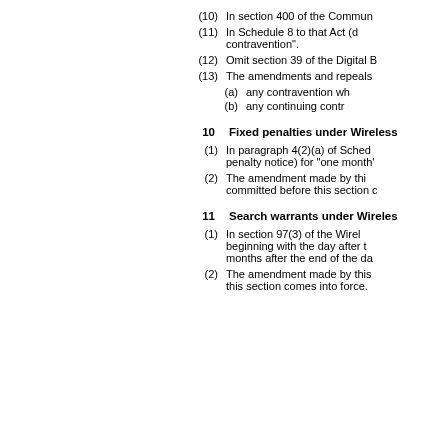(10) In section 400 of the Commun
(11) In Schedule 8 to that Act (d contravention".
(12) Omit section 39 of the Digital B
(13) The amendments and repeals
(a) any contravention wh
(b) any continuing contr
10 Fixed penalties under Wireless
(1) In paragraph 4(2)(a) of Sched penalty notice) for "one month'
(2) The amendment made by thi committed before this section c
11 Search warrants under Wireles
(1) In section 97(3) of the Wirel beginning with the day after t months after the end of the da
(2) The amendment made by this this section comes into force.